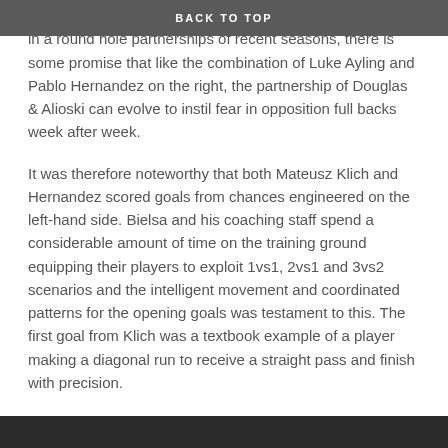BACK TO TOP
maintain forward momentum compared to the square peg in a round hole partnerships of recent seasons, there is some promise that like the combination of Luke Ayling and Pablo Hernandez on the right, the partnership of Douglas & Alioski can evolve to instil fear in opposition full backs week after week.
It was therefore noteworthy that both Mateusz Klich and Hernandez scored goals from chances engineered on the left-hand side. Bielsa and his coaching staff spend a considerable amount of time on the training ground equipping their players to exploit 1vs1, 2vs1 and 3vs2 scenarios and the intelligent movement and coordinated patterns for the opening goals was testament to this. The first goal from Klich was a textbook example of a player making a diagonal run to receive a straight pass and finish with precision.